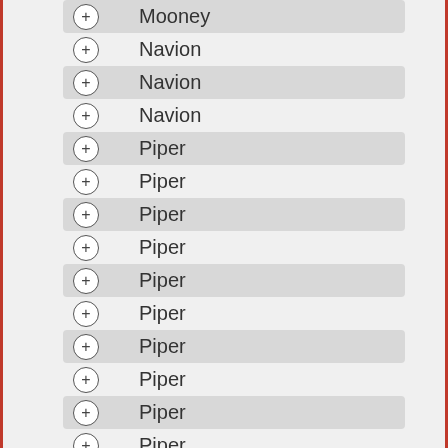Mooney
Navion
Navion
Navion
Piper
Piper
Piper
Piper
Piper
Piper
Piper
Piper
Piper
Piper